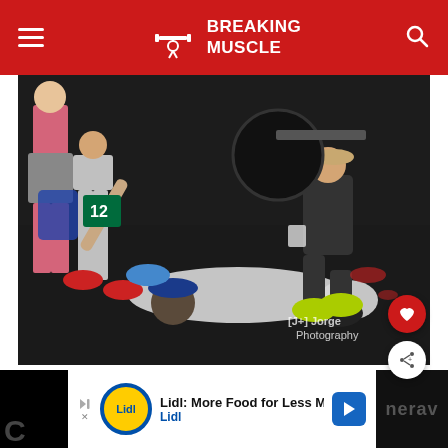Breaking Muscle
[Figure (photo): A person lying on a gym floor after collapsing, with two people crouching to assist them. A barbell with weight plates is visible in the background.]
[J+] Jorge Photography
[Figure (other): Advertisement banner: Lidl: More Food for Less Money - Lidl]